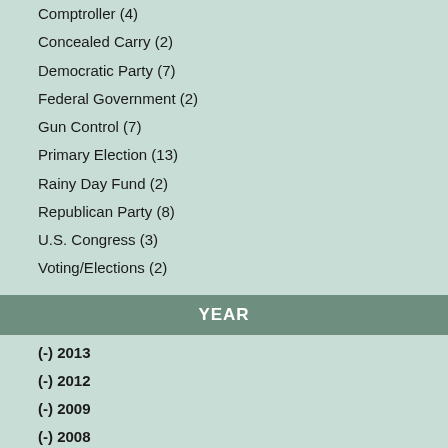Comptroller (4)
Concealed Carry (2)
Democratic Party (7)
Federal Government (2)
Gun Control (7)
Primary Election (13)
Rainy Day Fund (2)
Republican Party (8)
U.S. Congress (3)
Voting/Elections (2)
YEAR
(-) 2013
(-) 2012
(-) 2009
(-) 2008
(-) 2004
2016 (1)
2000 (2)